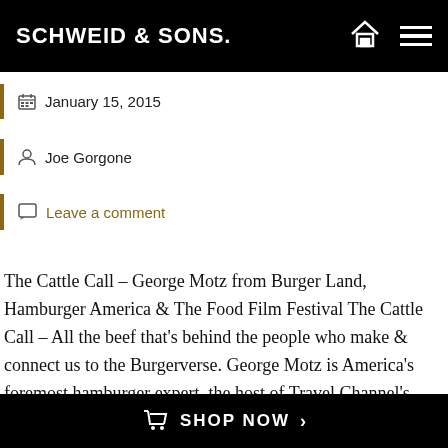SCHWEID & SONS.
January 15, 2015
Joe Gorgone
Leave a comment
The Cattle Call – George Motz from Burger Land, Hamburger America & The Food Film Festival The Cattle Call – All the beef that's behind the people who make & connect us to the Burgerverse. George Motz is America's foremost hamburger expert, the host of Travel Channel's Burger Land, the director of The Food Film Festival, and author …
SHOP NOW ›